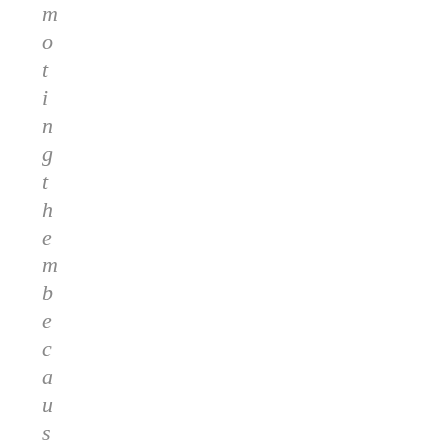motingthembecause they are great